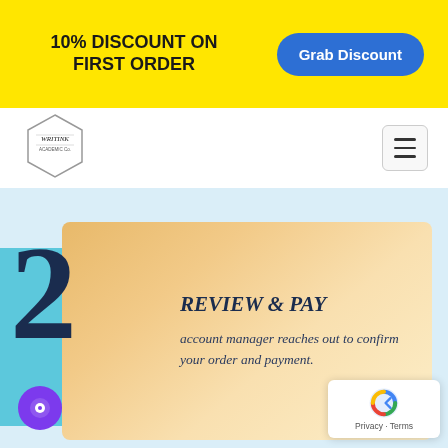10% DISCOUNT ON FIRST ORDER
Grab Discount
[Figure (logo): Writink logo in hexagon shape]
[Figure (infographic): Step 2 - REVIEW & PAY: account manager reaches out to confirm your order and payment. Large navy number 2 on cyan/gold card.]
REVIEW & PAY
account manager reaches out to confirm your order and payment.